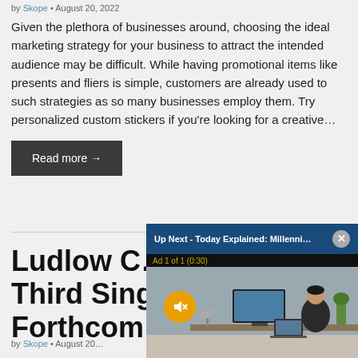by Skope • August 20, 2022
Given the plethora of businesses around, choosing the ideal marketing strategy for your business to attract the intended audience may be difficult. While having promotional items like presents and fliers is simple, customers are already used to such strategies as so many businesses employ them. Try personalized custom stickers if you're looking for a creative…
Read more →
Ludlow C… Third Sing… Forthcom…
by Skope • August 20…
[Figure (screenshot): Video overlay popup: 'Up Next - Today Explained: Millenni…' with a close button (×), ad label 'Ad 1 of 1 (0:30)', mute button (orange circle with mute icon), and office scene thumbnail showing a person working at a computer desk.]